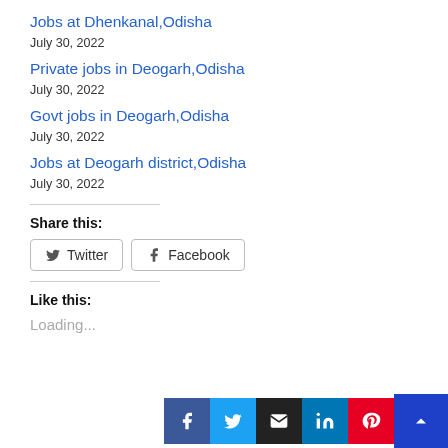Jobs at Dhenkanal,Odisha
July 30, 2022
Private jobs in Deogarh,Odisha
July 30, 2022
Govt jobs in Deogarh,Odisha
July 30, 2022
Jobs at Deogarh district,Odisha
July 30, 2022
Share this:
Twitter  Facebook
Like this:
Loading...